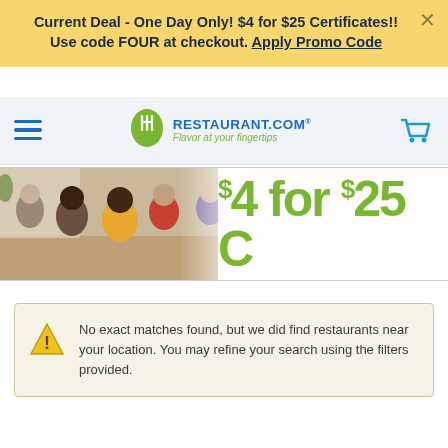Current Deal - One Day Only! $4 for $25 Certificates!! Use code FOUR at checkout. Apply Promo Code
[Figure (screenshot): Restaurant.com logo with fork/spoon icon and tagline 'Flavor at your fingertips', hamburger menu icon, and shopping cart icon on light blue navbar]
[Figure (photo): Banner showing people dining at a restaurant on left side, with large green text '$4 for $25 C' on right side (certificate deal promotion)]
No exact matches found, but we did find restaurants near your location. You may refine your search using the filters provided.